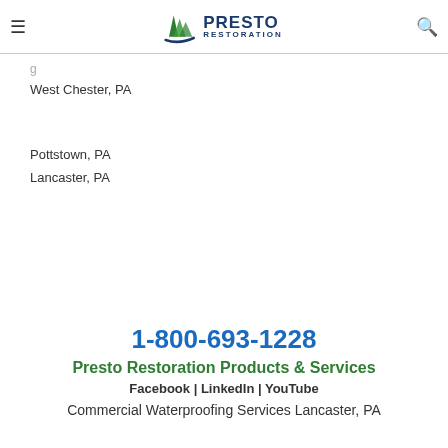Presto Restoration logo header with hamburger menu and search icon
West Chester, PA
Pottstown, PA
Lancaster, PA
1-800-693-1228
Presto Restoration Products & Services
Facebook | LinkedIn | YouTube
Commercial Waterproofing Services Lancaster, PA